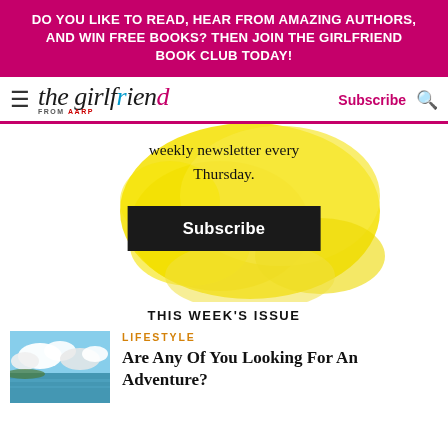DO YOU LIKE TO READ, HEAR FROM AMAZING AUTHORS, AND WIN FREE BOOKS? THEN JOIN THE GIRLFRIEND BOOK CLUB TODAY!
[Figure (logo): The Girlfriend from AARP logo with hamburger menu, Subscribe link, and search icon]
weekly newsletter every Thursday.
Subscribe
THIS WEEK'S ISSUE
LIFESTYLE
Are Any Of You Looking For An Adventure?
[Figure (photo): Tropical ocean scene with clouds and water]